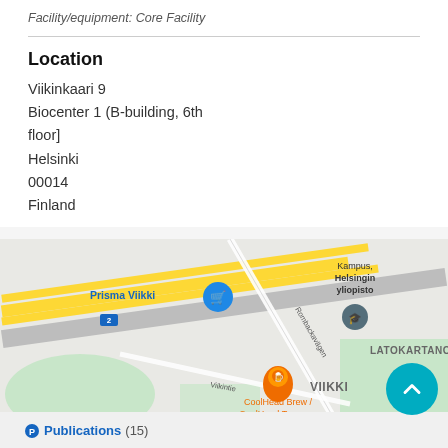Facility/equipment: Core Facility
Location
Viikinkaari 9
Biocenter 1 (B-building, 6th floor]
Helsinki
00014
Finland
[Figure (map): Google Maps screenshot showing the Viikki area in Helsinki, Finland, with markers for Kampus/Helsingin yliopisto, Prisma Viikki, CoolHead Brew/CoolHead Taproom, and the LATOKARTANO and VIIKKI neighborhoods visible.]
Publications (15)